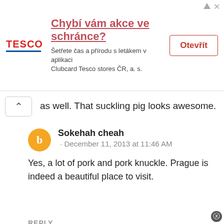[Figure (screenshot): Tesco advertisement banner in Czech: 'Chybí vám akce ve schránce?' with Tesco logo and 'Otevřít' button]
as well. That suckling pig looks awesome.
Sokehah cheah
· December 11, 2013 at 11:46 AM
Yes, a lot of pork and pork knuckle. Prague is indeed a beautiful place to visit.
REPLY
Nippon Nin · December 11, 2013 at 5:50 AM
It was a fun trip post. I wish I was there. I think I'm going to love their foods.
Sokehah cheah